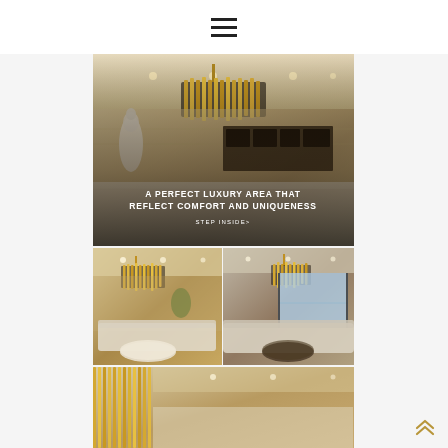☰ (hamburger menu icon)
[Figure (photo): Luxury interior living room with gold chandelier, classical sculpture, marble surfaces, dark wood cabinet, and elegant lighting. Text overlay reads 'A PERFECT LUXURY AREA THAT REFLECT COMFORT AND UNIQUENESS' with 'STEP INSIDE>' below.]
A PERFECT LUXURY AREA THAT REFLECT COMFORT AND UNIQUENESS
STEP INSIDE>
[Figure (photo): Luxury living room with gold cylindrical chandelier, large curved sectional sofa, round coffee table, warm beige tones.]
[Figure (photo): Luxury living room with gold chandelier, large windows with ocean view, curved sofa arrangement, daylight interior.]
[Figure (photo): Partial view of luxury interior with vertical gold decorative elements, warm marble tones.]